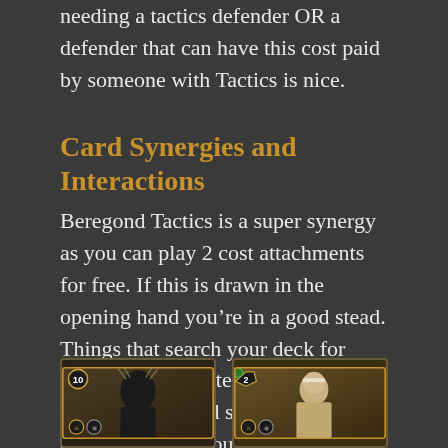needing a tactics defender OR a defender that can have this cost paid by someone with Tactics is nice.
Card Synergies and Interactions
Beregond Tactics is a super synergy as you can play 2 cost attachments for free. If this is drawn in the opening hand you’re in a good stead. Things that search your deck for attachments (Master of the Forge) allows you to find something quickly outside your opening hand.
[Figure (photo): Two game cards shown side by side at the bottom of the page, partially visible. Left card shows a dark armored figure with a cost of 10. Right card shows a figure with cost 2 and green resource icon.]